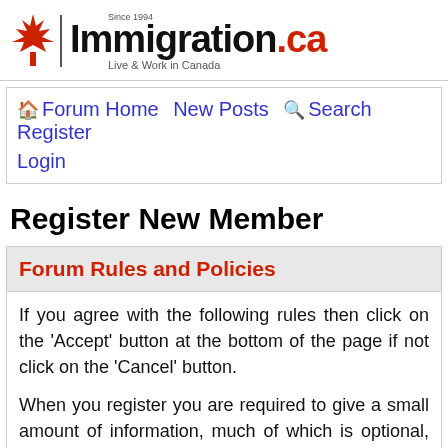[Figure (logo): Immigration.ca logo with maple leaf, 'Since 1994' text, and tagline 'Live & Work in Canada']
Forum Home  New Posts  Search  Register  Login
Register New Member
Forum Rules and Policies
If you agree with the following rules then click on the 'Accept' button at the bottom of the page if not click on the 'Cancel' button.
When you register you are required to give a small amount of information, much of which is optional, anything you do give must be considered as